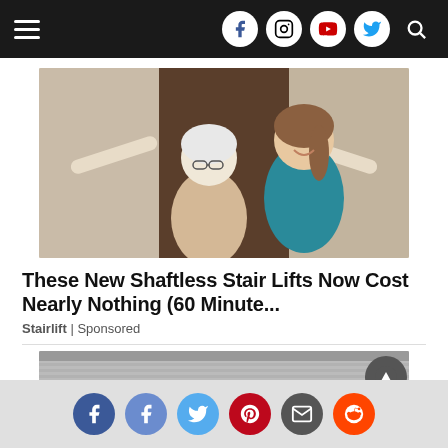Navigation bar with hamburger menu and social icons: Facebook, Instagram, YouTube, Twitter, Search
[Figure (photo): Elderly woman with white hair being assisted on stairs by a younger woman in a teal top]
These New Shaftless Stair Lifts Now Cost Nearly Nothing (60 Minute...
Stairlift | Sponsored
[Figure (photo): Black and white photo of a baseball player wearing number 3 standing in a stadium with a large crowd in the background]
Social share buttons: Facebook, Facebook, Twitter, Pinterest, Email, Reddit